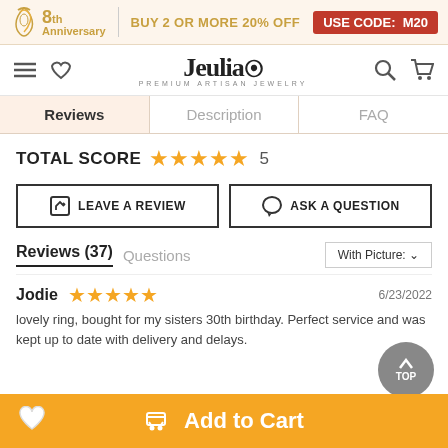8th Anniversary | BUY 2 OR MORE 20% OFF USE CODE: M20
[Figure (logo): Jeulia Premium Artisan Jewelry logo with navigation icons]
Reviews | Description | FAQ
TOTAL SCORE ★★★★★ 5
LEAVE A REVIEW
ASK A QUESTION
Reviews (37)  Questions  With Picture: ∨
Jodie ★★★★★ 6/23/2022
lovely ring, bought for my sisters 30th birthday. Perfect service and was kept up to date with delivery and delays.
Add to Cart